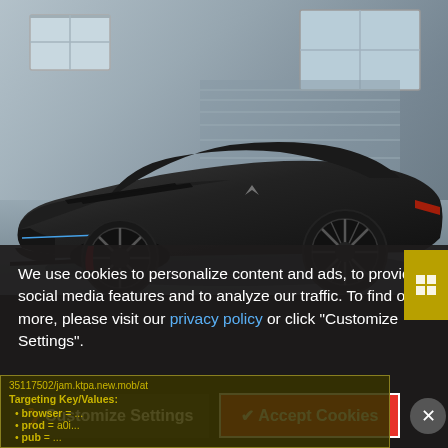[Figure (photo): Dark matte black Dodge Charger Daytona concept electric muscle car parked in front of a modern garage/building with large windows. The car is viewed from the front-left three-quarter angle, showing its aggressive styling with hood scoops, red brake calipers visible through the spider-web style wheels, and a Fratzog badge on the front door.]
We use cookies to personalize content and ads, to provide social media features and to analyze our traffic. To find out more, please visit our privacy policy or click "Customize Settings".
35117502/jam.ktpa.new.mob/at
Targeting Key/Values:
browser = ...
prod = a0i...
pub = ...